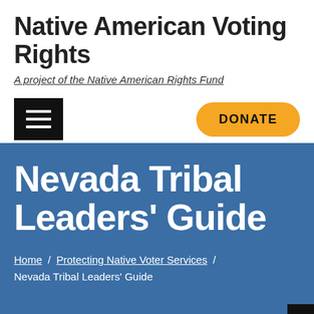Native American Voting Rights
A project of the Native American Rights Fund
Nevada Tribal Leaders' Guide
Home / Protecting Native Voter Services / Nevada Tribal Leaders' Guide